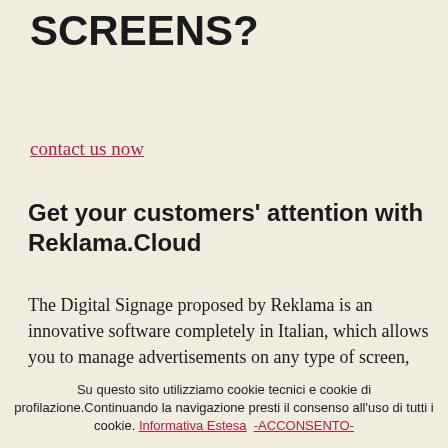SCREENS?
contact us now
Get your customers' attention with Reklama.Cloud
The Digital Signage proposed by Reklama is an innovative software completely in Italian, which allows you to manage advertisements on any type of screen, easily and quickly, with dedicated technical support always by your side. Reklama works via internet through APP or through a browser and by connecting to our
Su questo sito utilizziamo cookie tecnici e cookie di profilazione.Continuando la navigazione presti il consenso all'uso di tutti i cookie. Informativa Estesa -ACCONSENTO-